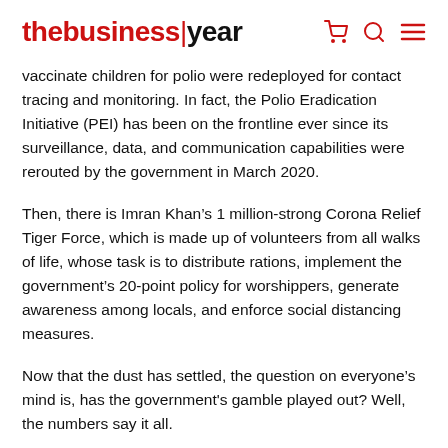thebusiness|year
vaccinate children for polio were redeployed for contact tracing and monitoring. In fact, the Polio Eradication Initiative (PEI) has been on the frontline ever since its surveillance, data, and communication capabilities were rerouted by the government in March 2020.
Then, there is Imran Khan’s 1 million-strong Corona Relief Tiger Force, which is made up of volunteers from all walks of life, whose task is to distribute rations, implement the government’s 20-point policy for worshippers, generate awareness among locals, and enforce social distancing measures.
Now that the dust has settled, the question on everyone’s mind is, has the government's gamble played out? Well, the numbers say it all.